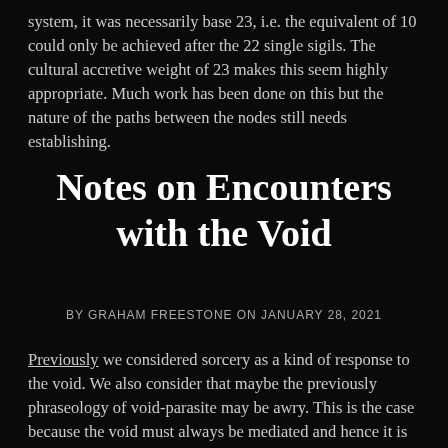system, it was necessarily base 23, i.e. the equivalent of 10 could only be achieved after the 22 single sigils. The cultural accretive weight of 23 makes this seem highly appropriate. Much work has been done on this but the nature of the paths between the nodes still needs establishing.
Notes on Encounters with the Void
BY GRAHAM FREESTONE ON JANUARY 28, 2021
Previously we considered sorcery as a kind of response to the void. We also consider that maybe the previously phraseology of void-parasite may be awry. This is the case because the void must always be mediated and hence it is